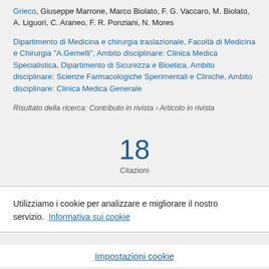Grieco, Giuseppe Marrone, Marco Biolato, F. G. Vaccaro, M. Biolato, A. Liguori, C. Araneo, F. R. Ponziani, N. Mores
Dipartimento di Medicina e chirurgia traslazionale, Facoltà di Medicina e Chirurgia "A.Gemelli", Ambito disciplinare: Clinica Medica Specialistica, Dipartimento di Sicurezza e Bioetica, Ambito disciplinare: Scienze Farmacologiche Sperimentali e Cliniche, Ambito disciplinare: Clinica Medica Generale
Risultato della ricerca: Contributo in rivista › Articolo in rivista
18
Citazioni
Utilizziamo i cookie per analizzare e migliorare il nostro servizio.  Informativa sui cookie
Impostazioni cookie